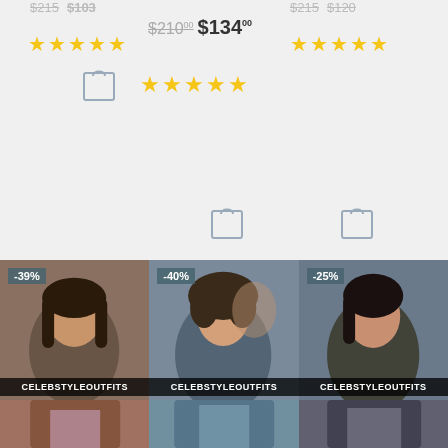$215 $103 (top left prices, partially cut off)
5 stars (top left)
$210.00 $134.00 (center prices)
5 stars (center)
$215 $120 (top right prices, partially cut off)
5 stars (top right)
[Figure (photo): Female teen actress with discount badge -39% and CELEBSTYLEOUTFITS label]
[Figure (photo): Female teen actress smiling, with discount badge -40% and CELEBSTYLEOUTFITS label]
[Figure (photo): Female teen actress serious expression, with discount badge -25% and CELEBSTYLEOUTFITS label]